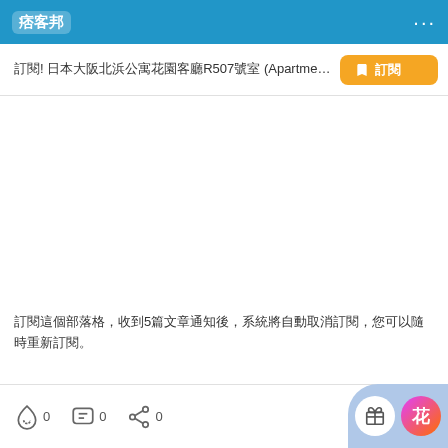痞客邦
訂閱! 日本大阪北浜公寓花園客廳R507號室 (Apartment In Hanaz...
訂閱這個部落格，收到5篇文章通知後，系統將自動取消訂閱，您可以隨時重新訂閱。
0 留言 0 分享 0